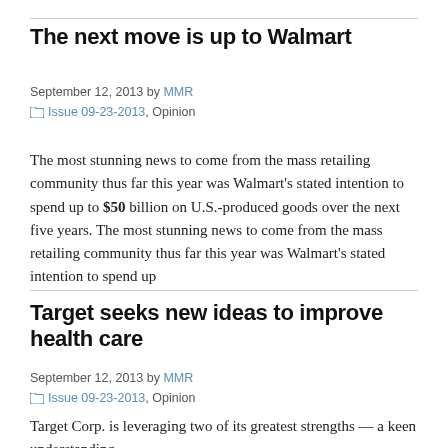The next move is up to Walmart
September 12, 2013 by MMR
📁 Issue 09-23-2013, Opinion
The most stunning news to come from the mass retailing community thus far this year was Walmart's stated intention to spend up to $50 billion on U.S.-produced goods over the next five years. The most stunning news to come from the mass retailing community thus far this year was Walmart's stated intention to spend up
Target seeks new ideas to improve health care
September 12, 2013 by MMR
📁 Issue 09-23-2013, Opinion
Target Corp. is leveraging two of its greatest strengths — a keen understanding